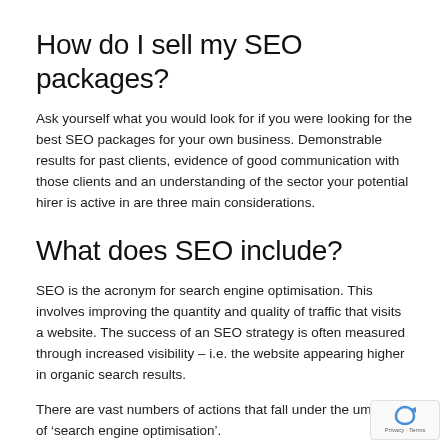How do I sell my SEO packages?
Ask yourself what you would look for if you were looking for the best SEO packages for your own business. Demonstrable results for past clients, evidence of good communication with those clients and an understanding of the sector your potential hirer is active in are three main considerations.
What does SEO include?
SEO is the acronym for search engine optimisation. This involves improving the quantity and quality of traffic that visits a website. The success of an SEO strategy is often measured through increased visibility – i.e. the website appearing higher in organic search results.
There are vast numbers of actions that fall under the umbrella of ‘search engine optimisation’.